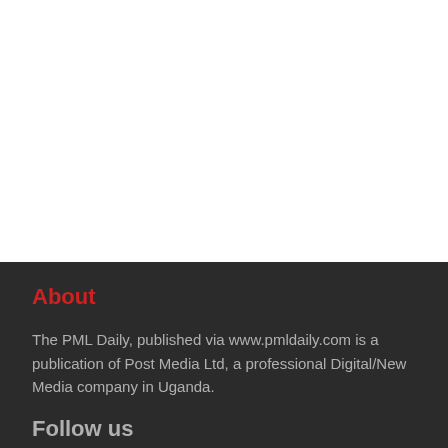About
The PML Daily, published via www.pmldaily.com is a publication of Post Media Ltd, a professional Digital/New Media company in Uganda.
Follow us